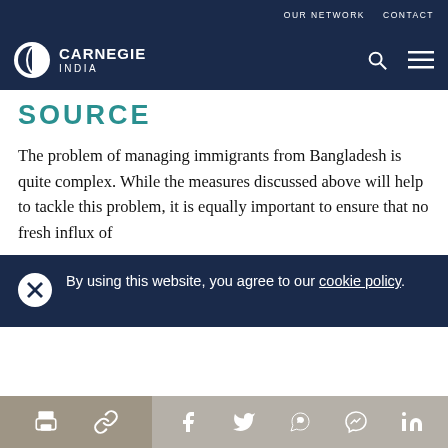OUR NETWORK   CONTACT
[Figure (logo): Carnegie India logo with circular icon and text]
SOURCE
The problem of managing immigrants from Bangladesh is quite complex. While the measures discussed above will help to tackle this problem, it is equally important to ensure that no fresh influx of
By using this website, you agree to our cookie policy.
[Figure (infographic): Bottom toolbar with social share icons: print, link, Facebook, Twitter, WhatsApp, Messenger, LinkedIn]